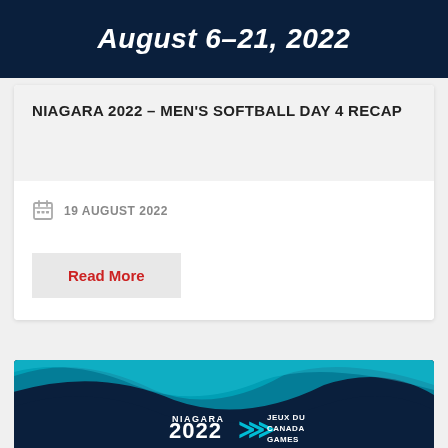[Figure (illustration): Dark navy blue banner with bold white italic text reading 'August 6-21, 2022']
NIAGARA 2022 – MEN'S SOFTBALL DAY 4 RECAP
19 AUGUST 2022
Read More
[Figure (logo): Niagara 2022 Canada Games banner with teal wave graphics and bilingual Niagara 2022 / Jeux du Canada Games logo on dark navy background]